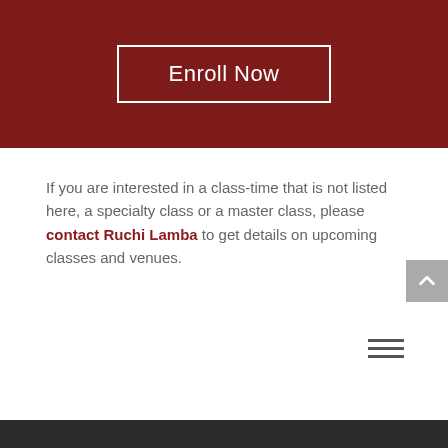[Figure (other): Dark red banner with an 'Enroll Now' button centered, white bordered rectangle button on dark red background]
If you are interested in a class-time that is not listed here, a specialty class or a master class, please contact Ruchi Lamba to get details on upcoming classes and venues.
Dark footer bar at bottom of page